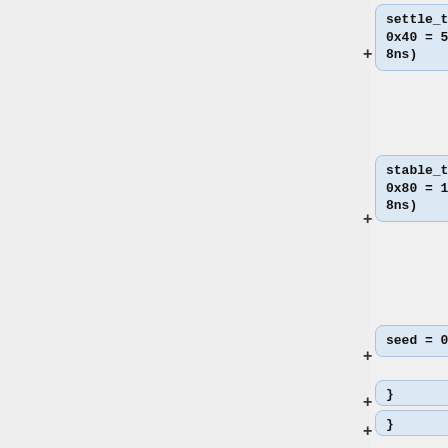settle_time = 0x40; // 0x40 = 512 ns (1 = 8ns)
stable_time = 0x80; // 0x80 = 1024 ns (1 = 8ns)
seed = 0xabcdef01;
}
}
fadc250: (
{
type = "integrating";